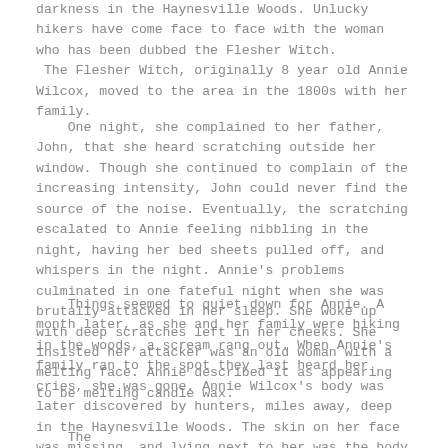darkness in the Haynesville Woods. Unlucky hikers have come face to face with the woman who has been dubbed the Flesher Witch. The Flesher Witch, originally 8 year old Annie Wilcox, moved to the area in the 1800s with her family.
One night, she complained to her father, John, that she heard scratching outside her window. Though she continued to complain of the increasing intensity, John could never find the source of the noise. Eventually, the scratching escalated to Annie feeling nibbling in the night, having her bed sheets pulled off, and whispers in the night. Annie's problems culminated in one fateful night when she was brutally attacked in her sleep. She woke up with deep scratches left in her cheeks. She insisted her attacker was an old woman with a melting face. Annie described it as appearing to be melting candle wax.
Things seemed to quiet down for Annie. A month later, as she and her family were hiking in the woods, a scream rang out. When Annie's family ran to the spot they last heard her cries, she was gone. Annie Wilcox's body was later discovered by hunters, miles away, deep in the Haynesville Woods. The skin on her face was missing, and lying next to her was the body of an old woman with a facial deformity.
The